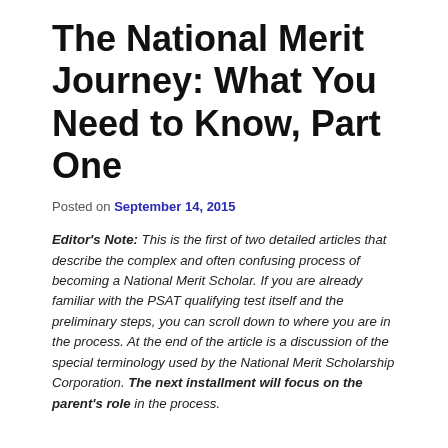The National Merit Journey: What You Need to Know, Part One
Posted on September 14, 2015
Editor's Note: This is the first of two detailed articles that describe the complex and often confusing process of becoming a National Merit Scholar. If you are already familiar with the PSAT qualifying test itself and the preliminary steps, you can scroll down to where you are in the process. At the end of the article is a discussion of the special terminology used by the National Merit Scholarship Corporation. The next installment will focus on the parent's role in the process.